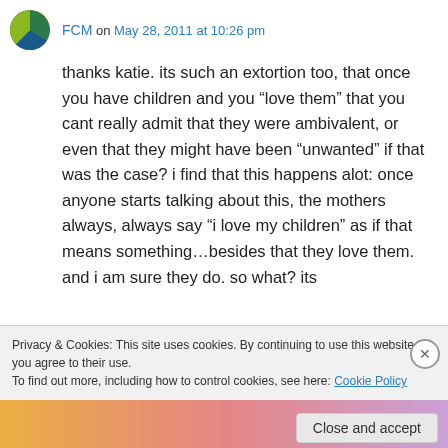FCM on May 28, 2011 at 10:26 pm
thanks katie. its such an extortion too, that once you have children and you “love them” that you cant really admit that they were ambivalent, or even that they might have been “unwanted” if that was the case? i find that this happens alot: once anyone starts talking about this, the mothers always, always say “i love my children” as if that means something…besides that they love them. and i am sure they do. so what? its
Privacy & Cookies: This site uses cookies. By continuing to use this website, you agree to their use.
To find out more, including how to control cookies, see here: Cookie Policy
Close and accept